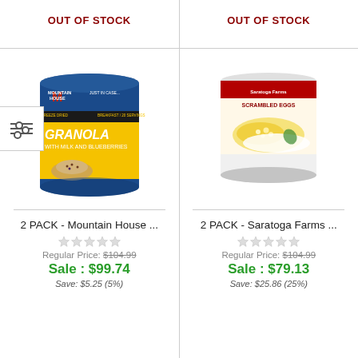OUT OF STOCK
OUT OF STOCK
[Figure (photo): Can of Mountain House Granola with Milk and Blueberries freeze-dried food, blue and yellow can]
2 PACK - Mountain House ...
Regular Price: $104.99
Sale : $99.74
Save: $5.25 (5%)
[Figure (photo): Can of Saratoga Farms Scrambled Eggs freeze-dried food with scrambled eggs on a plate]
2 PACK - Saratoga Farms ...
Regular Price: $104.99
Sale : $79.13
Save: $25.86 (25%)